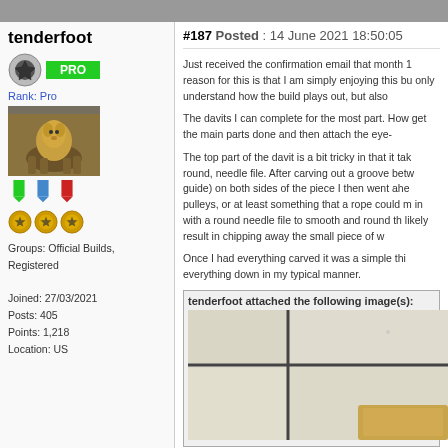tenderfoot
[Figure (illustration): User avatar with PRO badge, profile image of a horse/animal painting, three colored ribbons (green, blue, red), and three gold medal badges]
Rank: Pro
Groups: Official Builds, Registered
Joined: 27/03/2021
Posts: 405
Points: 1,218
Location: US
#187 Posted : 14 June 2021 18:50:05
Just received the confirmation email that month 1 reason for this is that I am simply enjoying this bu only understand how the build plays out, but also

The davits I can complete for the most part. How get the main parts done and then attach the eye-

The top part of the davit is a bit tricky in that it tak round, needle file. After carving out a groove betw guide) on both sides of the piece I then went ahe pulleys, or at least something that a rope could m in with a round needle file to smooth and round th likely result in chipping away the small piece of w

Once I had everything carved it was a simple thi everything down in my typical manner.
tenderfoot attached the following image(s):
[Figure (photo): Close-up photo showing light-colored tile or board pieces with dark lines/gaps between them, and what appears to be part of a wooden or carved object at the bottom right]